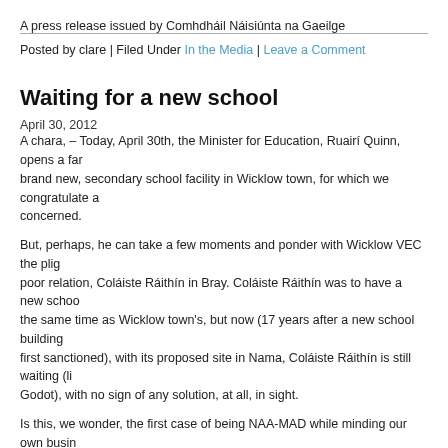A press release issued by Comhdháil Náisiúnta na Gaeilge
Posted by clare | Filed Under In the Media | Leave a Comment
Waiting for a new school
April 30, 2012
A chara, – Today, April 30th, the Minister for Education, Ruairí Quinn, opens a brand new, secondary school facility in Wicklow town, for which we congratulate all concerned.
But, perhaps, he can take a few moments and ponder with Wicklow VEC the plight of its poor relation, Coláiste Ráithín in Bray. Coláiste Ráithín was to have a new school at the same time as Wicklow town's, but now (17 years after a new school building was first sanctioned), with its proposed site in Nama, Coláiste Ráithín is still waiting (like Godot), with no sign of any solution, at all, in sight.
Is this, we wonder, the first case of being NAA-MAD while minding our own business? We will go on! – Is mise,
PAUL MOORE,